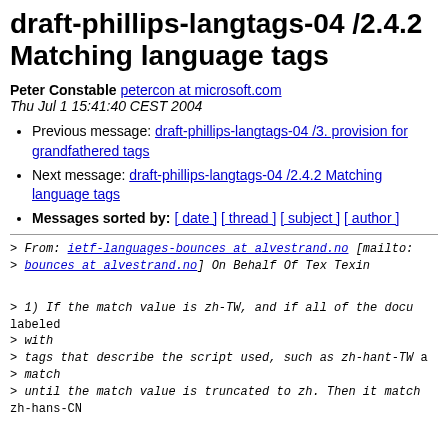draft-phillips-langtags-04 /2.4.2 Matching language tags
Peter Constable petercon at microsoft.com
Thu Jul 1 15:41:40 CEST 2004
Previous message: draft-phillips-langtags-04 /3. provision for grandfathered tags
Next message: draft-phillips-langtags-04 /2.4.2 Matching language tags
Messages sorted by: [ date ] [ thread ] [ subject ] [ author ]
> From: ietf-languages-bounces at alvestrand.no [mailto:
> bounces at alvestrand.no] On Behalf Of Tex Texin
> 1) If the match value is zh-TW, and if all of the docu labeled
> with
> tags that describe the script used, such as zh-hant-TW a
> match
> until the match value is truncated to zh. Then it match zh-hans-CN